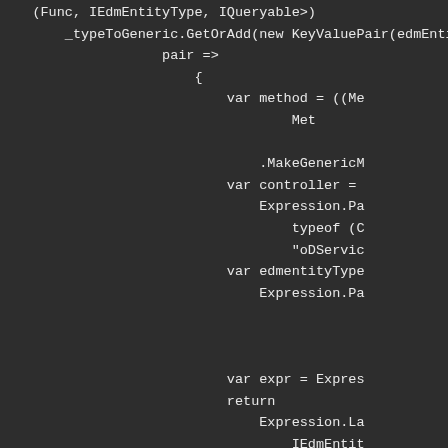[Figure (screenshot): Code editor screenshot showing C# code with dark background. Visible code includes: (Func, IEdmEntityType, IQueryable>), _typeToGeneric.GetOrAdd(new KeyValuePair(edmEntit..., pair =>, {, var method = ((Me..., Met..., .MakeGenericM..., var controller =, Expression.Pa..., typeof (C..., "oDServic..., var edmentityType..., Expression.Pa..., var expr = Expres..., return, Expression.La..., IEdmEntit...]